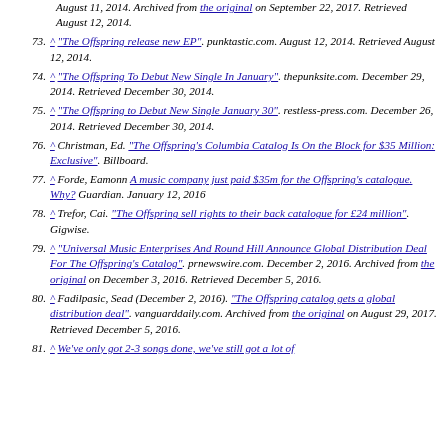(partial) August 11, 2014. Archived from the original on September 22, 2017. Retrieved August 12, 2014.
73. ^ "The Offspring release new EP". punktastic.com. August 12, 2014. Retrieved August 12, 2014.
74. ^ "The Offspring To Debut New Single In January". thepunksite.com. December 29, 2014. Retrieved December 30, 2014.
75. ^ "The Offspring to Debut New Single January 30". restless-press.com. December 26, 2014. Retrieved December 30, 2014.
76. ^ Christman, Ed. "The Offspring's Columbia Catalog Is On the Block for $35 Million: Exclusive". Billboard.
77. ^ Forde, Eamonn A music company just paid $35m for the Offspring's catalogue. Why? Guardian. January 12, 2016
78. ^ Trefor, Cai. "The Offspring sell rights to their back catalogue for £24 million". Gigwise.
79. ^ "Universal Music Enterprises And Round Hill Announce Global Distribution Deal For The Offspring's Catalog". prnewswire.com. December 2, 2016. Archived from the original on December 3, 2016. Retrieved December 5, 2016.
80. ^ Fadilpasic, Sead (December 2, 2016). "The Offspring catalog gets a global distribution deal". vanguarddaily.com. Archived from the original on August 29, 2017. Retrieved December 5, 2016.
81. ^ We've only got 2-3 songs done, we've still got a lot of (partial)